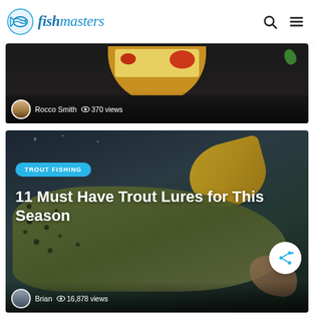fishmasters
[Figure (photo): Food photo showing a yellow/golden bowl with pasta and red tomato sauce, on a dark background. Author: Rocco Smith, 370 views.]
[Figure (photo): Close-up photo of a brown trout fish with spots, underwater scene. Category badge: TROUT FISHING. Title: 11 Must Have Trout Lures for This Season. Author: Brian, 16,878 views.]